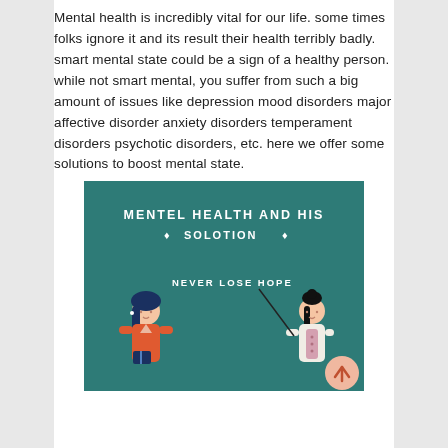Mental health is incredibly vital for our life. some times folks ignore it and its result their health terribly badly. smart mental state could be a sign of a healthy person. while not smart mental, you suffer from such a big amount of issues like depression mood disorders major affective disorder anxiety disorders temperament disorders psychotic disorders, etc. here we offer some solutions to boost mental state.
[Figure (infographic): Teal/dark green infographic card titled 'MENTEL HEALTH AND HIS SOLOTION' with subtitle '♦ SOLOTION ♦' and text 'NEVER LOSE HOPE'. Shows two illustrated cartoon women: one on the left in an orange shirt holding a book, one on the right in a white outfit holding a pointer stick. A circular scroll-up button appears in the bottom right corner.]